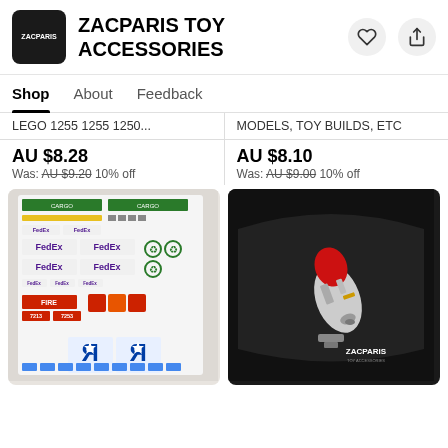ZACPARIS TOY ACCESSORIES
Shop  About  Feedback
LEGO 1255 1255 1250...
MODELS, TOY BUILDS, ETC
AU $8.28
Was: AU $9.20 10% off
AU $8.10
Was: AU $9.00 10% off
[Figure (photo): Sheet of stickers with FedEx, Fire, Toys R Us and cargo logos]
[Figure (photo): LEGO space model on black background with ZACPARIS logo]